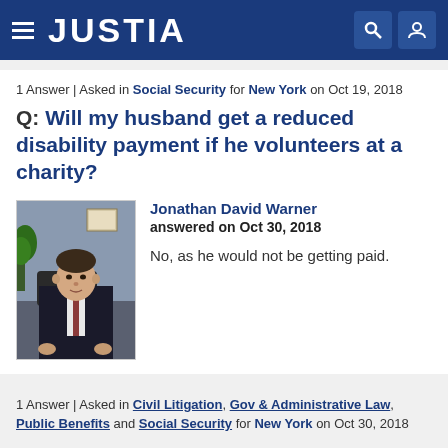JUSTIA
1 Answer | Asked in Social Security for New York on Oct 19, 2018
Q: Will my husband get a reduced disability payment if he volunteers at a charity?
[Figure (photo): Professional headshot of attorney Jonathan David Warner in a dark suit, seated in an office setting with a plant and framed certificates in background]
Jonathan David Warner
answered on Oct 30, 2018

No, as he would not be getting paid.
1 Answer | Asked in Civil Litigation, Gov & Administrative Law, Public Benefits and Social Security for New York on Oct 30, 2018